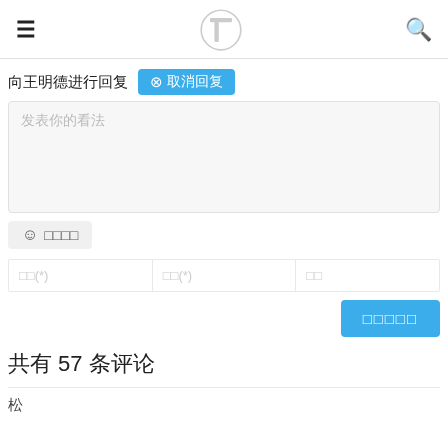≡  [logo]  🔍
向王明德进行回复  ⊗取消回复
发表你的看法
☺ □□□□
□□(*)   □□(*)   □□
□□□□□
共有 57 条评论
松